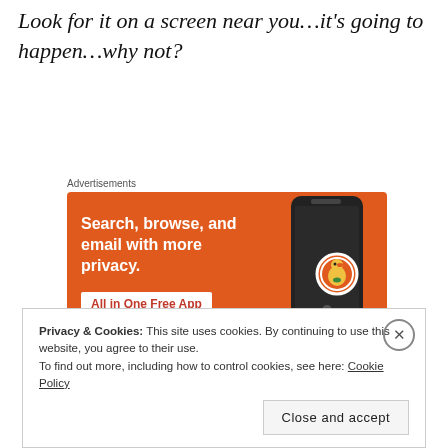Look for it on a screen near you…it's going to happen…why not?
Advertisements
[Figure (screenshot): DuckDuckGo advertisement banner with orange background. Text reads: 'Search, browse, and email with more privacy.' and 'All in One Free App'. Shows a smartphone with the DuckDuckGo logo.]
[Figure (screenshot): Partially visible widget with grey background below the advertisement.]
Privacy & Cookies: This site uses cookies. By continuing to use this website, you agree to their use.
To find out more, including how to control cookies, see here: Cookie Policy
Close and accept